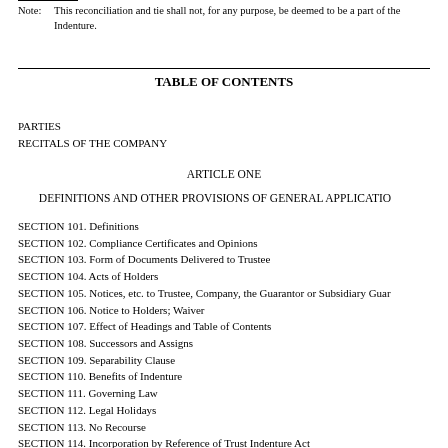Note: This reconciliation and tie shall not, for any purpose, be deemed to be a part of the Indenture.
TABLE OF CONTENTS
PARTIES
RECITALS OF THE COMPANY
ARTICLE ONE
DEFINITIONS AND OTHER PROVISIONS OF GENERAL APPLICATION
SECTION 101. Definitions
SECTION 102. Compliance Certificates and Opinions
SECTION 103. Form of Documents Delivered to Trustee
SECTION 104. Acts of Holders
SECTION 105. Notices, etc. to Trustee, Company, the Guarantor or Subsidiary Guarantors
SECTION 106. Notice to Holders; Waiver
SECTION 107. Effect of Headings and Table of Contents
SECTION 108. Successors and Assigns
SECTION 109. Separability Clause
SECTION 110. Benefits of Indenture
SECTION 111. Governing Law
SECTION 112. Legal Holidays
SECTION 113. No Recourse
SECTION 114. Incorporation by Reference of Trust Indenture Act